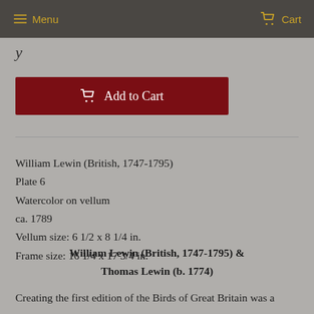Menu  Cart
y
Add to Cart
William Lewin (British, 1747-1795)
Plate 6
Watercolor on vellum
ca. 1789
Vellum size: 6 1/2 x 8 1/4 in.
Frame size: 16 1/4 x 17 3/4 in.
William Lewin (British, 1747-1795) & Thomas Lewin (b. 1774)
Creating the first edition of the Birds of Great Britain was a